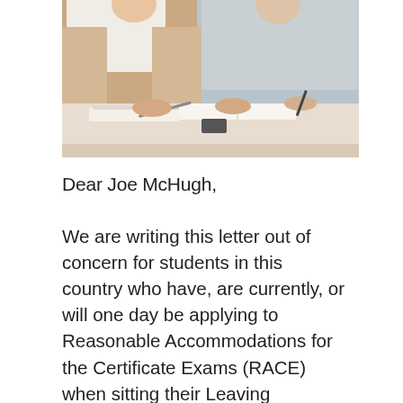[Figure (photo): Two people sitting at a table studying together, hands resting on open books/notebooks, cropped at torso level]
Dear Joe McHugh,
We are writing this letter out of concern for students in this country who have, are currently, or will one day be applying to Reasonable Accommodations for the Certificate Exams (RACE) when sitting their Leaving Certificate. As you know, RACE is a scheme which provides students who have learning...